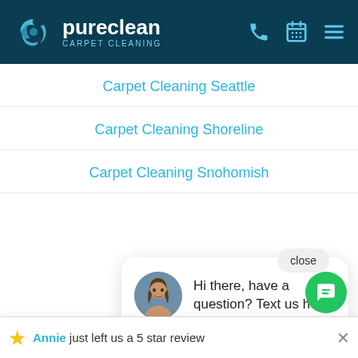[Figure (screenshot): PureClean Carpet Cleaning website header with logo (blue swirl + white text), phone, calendar, and menu icons on dark teal background]
Carpet Cleaning Seattle
Carpet Cleaning Shoreline
Carpet Cleaning Snohomish
Carp[et Cleaning partial, obscured by chat popup]
[Figure (screenshot): Chat popup bubble with woman avatar photo and text: Hi there, have a question? Text us here. Close button visible. Green chat icon button in lower right.]
Annie just left us a 5 star review